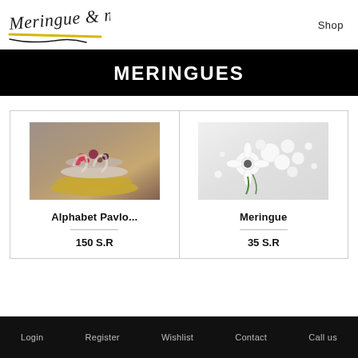[Figure (logo): Meringue & more handwritten logo with a yellow underline stroke]
Shop
MERINGUES
[Figure (photo): Alphabet pavlova cake shaped like letters, topped with blueberries, strawberries and cream, on a gold board]
Alphabet Pavlo...
150 S.R
[Figure (photo): White meringues and white anemone flowers arranged on a white background]
Meringue
35 S.R
Login   Register   Wishlist   Contact   Call us